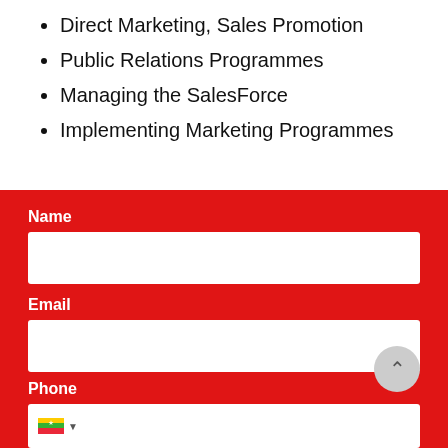Direct Marketing, Sales Promotion
Public Relations Programmes
Managing the SalesForce
Implementing Marketing Programmes
Name
Email
Phone